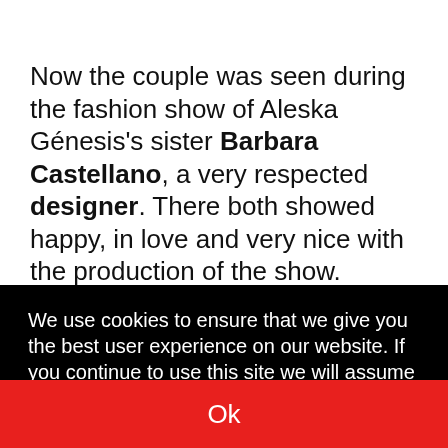Now the couple was seen during the fashion show of Aleska Génesis's sister Barbara Castellano, a very respected designer. There both showed happy, in love and very nice with the production of the show.
We use cookies to ensure that we give you the best user experience on our website. If you continue to use this site we will assume that you agree.
[Figure (screenshot): Red 'Ok' button at the bottom of the cookie consent banner]